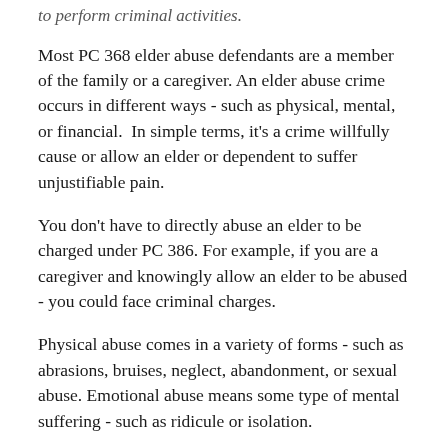to perform criminal activities.
Most PC 368 elder abuse defendants are a member of the family or a caregiver. An elder abuse crime occurs in different ways - such as physical, mental, or financial.  In simple terms, it's a crime willfully cause or allow an elder or dependent to suffer unjustifiable pain.
You don't have to directly abuse an elder to be charged under PC 386. For example, if you are a caregiver and knowingly allow an elder to be abused - you could face criminal charges.
Physical abuse comes in a variety of forms - such as abrasions, bruises, neglect, abandonment, or sexual abuse. Emotional abuse means some type of mental suffering - such as ridicule or isolation.
Financial abuse includes stealing, embezzlement and defrauding their property - such as forgery or identity